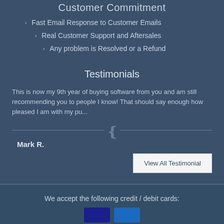Customer Commitment
Fast Email Response to Customer Emails
Real Customer Support and Aftersales
Any problem is Resolved or a Refund
Testimonials
This is now my 9th year of buying software from you and am still recommending you to people I know! That should say enough how pleased I am with my pu...
Mark R.
View All Testimonial
We accept the following credit / debit cards: